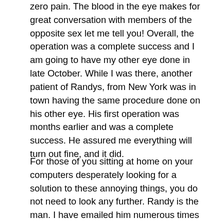zero pain. The blood in the eye makes for great conversation with members of the opposite sex let me tell you! Overall, the operation was a complete success and I am going to have my other eye done in late October. While I was there, another patient of Randys, from New York was in town having the same procedure done on his other eye. His first operation was months earlier and was a complete success. He assured me everything will turn out fine, and it did.
For those of you sitting at home on your computers desperately looking for a solution to these annoying things, you do not need to look any further. Randy is the man. I have emailed him numerous times late at night on weekends and he responds within the hour. The guy is the real deal. If any of you have any doubts or reservations about his expertise or skill, ask yourself this; how many doctors do you know will give out their email, have their own medical blog and respond